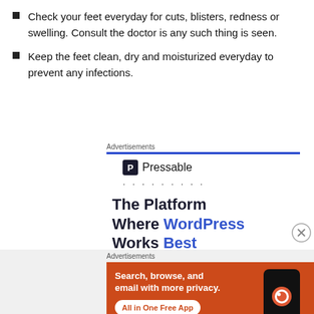Check your feet everyday for cuts, blisters, redness or swelling. Consult the doctor is any such thing is seen.
Keep the feet clean, dry and moisturized everyday to prevent any infections.
Advertisements
[Figure (infographic): Pressable advertisement banner with blue bar, Pressable logo and text, dotted line, and tagline 'The Platform Where WordPress Works Best']
Advertisements
[Figure (infographic): DuckDuckGo advertisement banner on orange background with text 'Search, browse, and email with more privacy. All in One Free App' and phone image with DuckDuckGo logo]